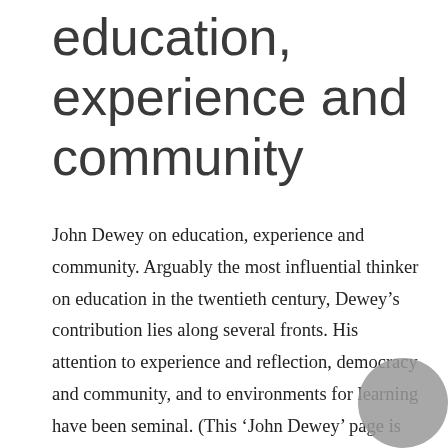education, experience and community
John Dewey on education, experience and community. Arguably the most influential thinker on education in the twentieth century, Dewey’s contribution lies along several fronts. His attention to experience and reflection, democracy and community, and to environments for learning have been seminal. (This ‘John Dewey’ page is due to be extended). John Dewey (1859 – 1952)